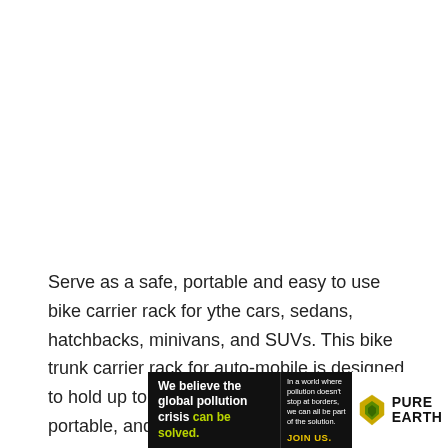Serve as a safe, portable and easy to use bike carrier rack for ythe cars, sedans, hatchbacks, minivans, and SUVs. This bike trunk carrier rack for auto-mobile is designed to hold up to 3 bikes. It is foldable and portable, and is convenient to carry within the trunk with a 2919.5 inch build.
[Figure (infographic): Pure Earth advertisement banner with black background. Left side reads 'We believe the global pollution crisis can be solved.' (can be solved in green). Right text section reads 'In a world where pollution doesn't stop at borders, we can all be part of the solution. JOIN US.' in yellow. Right side shows Pure Earth logo with diamond/arrow icon in gold/green and text PURE EARTH in black on white background.]